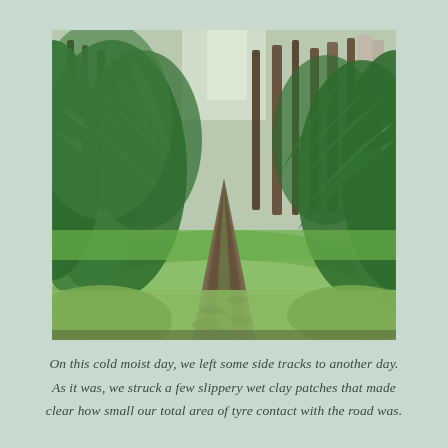[Figure (photo): A muddy dirt track winding through a lush temperate rainforest with large tree ferns on both sides and tall eucalyptus trees receding into the background. The ground is wet clay with tyre tracks visible.]
On this cold moist day, we left some side tracks to another day. As it was, we struck a few slippery wet clay patches that made clear how small our total area of tyre contact with the road was.